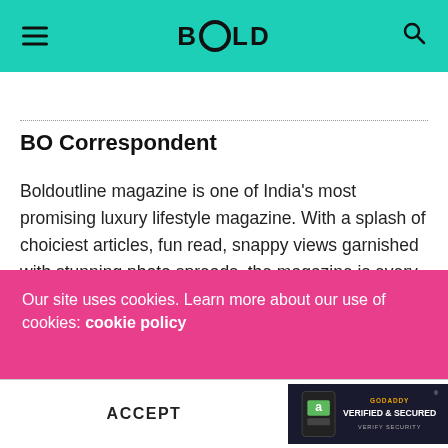BOLD (Boldoutline magazine logo)
BO Correspondent
Boldoutline magazine is one of India's most promising luxury lifestyle magazine. With a splash of choiciest articles, fun read, snappy views garnished with stunning photo spreads, the magazine is every reader's delight wrapped in one. A monthly sanctuary of everything luxurious, Boldoutline is a haven for lovers of travel,
Our site uses cookies. Learn more about our use of cookies: cookie policy
ACCEPT